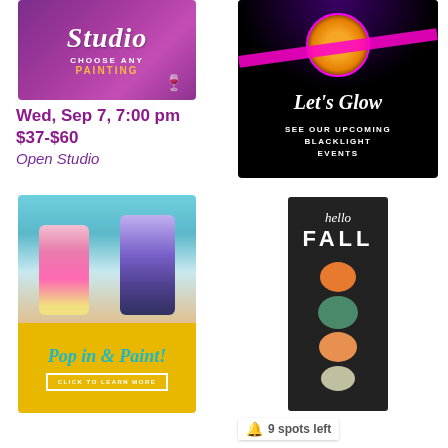[Figure (illustration): Purple studio painting promotional banner reading 'Studio' in cursive, 'CHOOSE ANY PAINTING' in white and gold text]
[Figure (illustration): Black background blacklight event promo with tiger face art, pink neon stripe, 'Let's Glow' in white cursive, 'SEE OUR UPCOMING BLACKLIGHT EVENTS' in white text]
Wed, Sep 7, 7:00 pm
$37-$60
Open Studio
[Figure (photo): Photo of two women painting at easels with a yellow banner below reading 'Pop in & Paint!' in teal cursive and 'CLICK TO LEARN MORE' button]
[Figure (illustration): Dark chalkboard-style tall card showing 'hello FALL' text with stacked pumpkins illustration in orange, teal, and white]
🔔 9 spots left